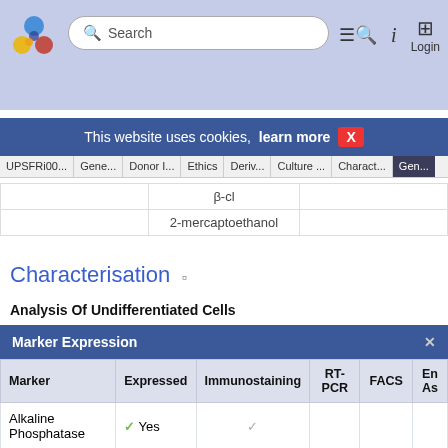[Figure (screenshot): Website navigation bar with logo, search box, and login icons on blue-grey background]
This website uses cookies, learn more X
UPSFRi00... Gene... Donor I... Ethics Deriv... Culture ... Charact... Gen...
| β-cl |  |
|  | 2-mercaptoethanol |  |
Characterisation
Analysis Of Undifferentiated Cells
| Marker | Expressed | Immunostaining | RT-PCR | FACS | En... As... |
| --- | --- | --- | --- | --- | --- |
| Alkaline Phosphatase | ✓ Yes | ✓ |  |  |  |
| POU5F1 (OCT-4) | ✓ Yes |  |  | ✓ |  |